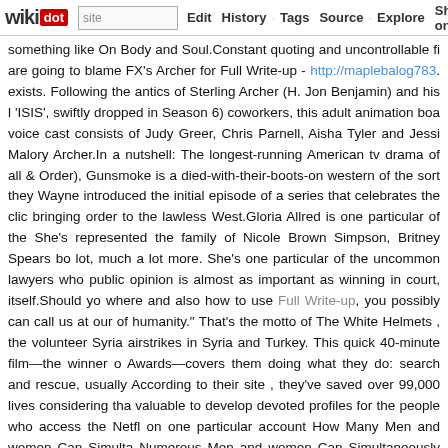wikidot | site | Edit | History | Tags | Source | Explore | Share on [Twitter]
something like On Body and Soul.Constant quoting and uncontrollable fi are going to blame FX's Archer for Full Write-up - http://maplebalog783... exists. Following the antics of Sterling Archer (H. Jon Benjamin) and his l 'ISIS', swiftly dropped in Season 6) coworkers, this adult animation boa voice cast consists of Judy Greer, Chris Parnell, Aisha Tyler and Jessi Malory Archer.In a nutshell: The longest-running American tv drama of all & Order), Gunsmoke is a died-with-their-boots-on western of the sort they Wayne introduced the initial episode of a series that celebrates the clic bringing order to the lawless West.Gloria Allred is one particular of the She's represented the family of Nicole Brown Simpson, Britney Spears bo lot, much a lot more. She's one particular of the uncommon lawyers who public opinion is almost as important as winning in court, itself.Should yo where and also how to use Full Write-up, you possibly can call us at our of humanity." That's the motto of The White Helmets , the volunteer Syria airstrikes in Syria and Turkey. This quick 40-minute film—the winner o Awards—covers them doing what they do: search and rescue, usually According to their site , they've saved over 99,000 lives considering tha valuable to develop devoted profiles for the people who access the Netfl on one particular account How Many Men and women Can Simulta Numerous Men and women Can Simultaneously Watch Netflix per A simultaneously watch Netflix on one account depends on the variety of ac the Netflix screen asks, Who's Watching?" and you can select a profile correct of existing profiles, which includes Add Profile.I saw this at film festival a couple of years ago and thought it was so charming, so great. meant to be producing a film about General Sherman's march via Georgia he falls out of love with the thought. As an alternative, the film becomes a a kind of video diary - an strategy that was fully new at the time. It's so everybody at the festival loved it. Not many films bear rewatching, but thi